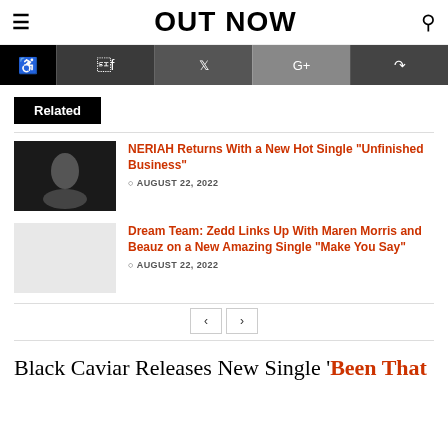OUT NOW
[Figure (screenshot): Social sharing bar with accessibility icon, Facebook, Twitter, Google+, and share icons]
Related
NERIAH Returns With a New Hot Single “Unfinished Business” — AUGUST 22, 2022
Dream Team: Zedd Links Up With Maren Morris and Beauz on a New Amazing Single “Make You Say” — AUGUST 22, 2022
Black Caviar Releases New Single ‘Been That